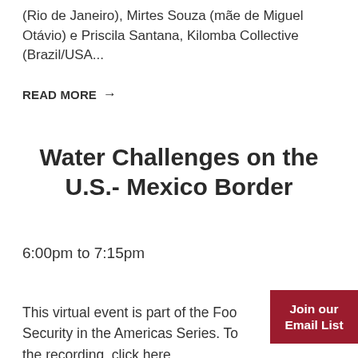(Rio de Janeiro), Mirtes Souza (mãe de Miguel Otávio) e Priscila Santana, Kilomba Collective (Brazil/USA...
READ MORE →
Water Challenges on the U.S.- Mexico Border
6:00pm to 7:15pm
This virtual event is part of the Food Security in the Americas Series. To access the recording, click here.
Join our Email List